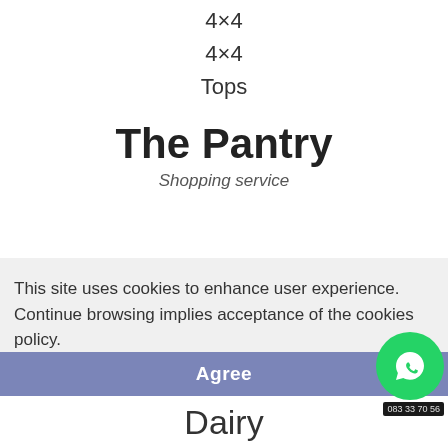4×4
4×4
Tops
The Pantry
Shopping service
This site uses cookies to enhance user experience. Continue browsing implies acceptance of the cookies policy.
More information
Agree
Dairy